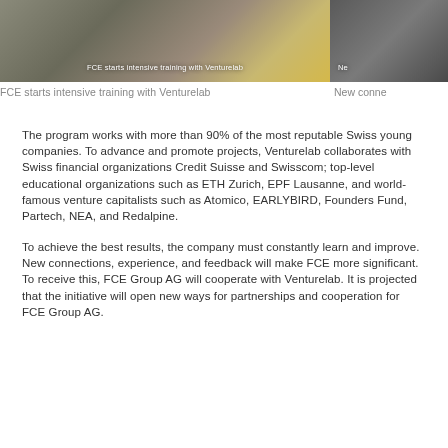[Figure (photo): Photo of people working at a table in a collaborative workspace setting, with yellow chair visible. Overlay text reads: FCE starts intensive training with Venturelab]
[Figure (photo): Partial photo, cropped on the right side. Overlay text reads: Ne (truncated, likely 'New connections...')]
FCE starts intensive training with Venturelab
New conne
The program works with more than 90% of the most reputable Swiss young companies. To advance and promote projects, Venturelab collaborates with Swiss financial organizations Credit Suisse and Swisscom; top-level educational organizations such as ETH Zurich, EPF Lausanne, and world-famous venture capitalists such as Atomico, EARLYBIRD, Founders Fund, Partech, NEA, and Redalpine.
To achieve the best results, the company must constantly learn and improve. New connections, experience, and feedback will make FCE more significant. To receive this, FCE Group AG will cooperate with Venturelab. It is projected that the initiative will open new ways for partnerships and cooperation for FCE Group AG.